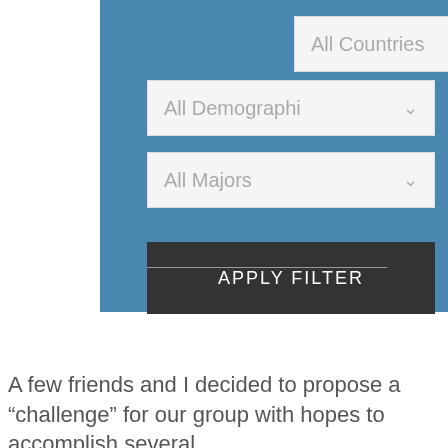[Figure (screenshot): A blue filter panel with three dropdown menus labeled 'All Countries', 'All Demographi', and 'All Majors', plus a dark 'APPLY FILTER' button and a horizontal divider line below it.]
A few friends and I decided to propose a “challenge” for our group with hopes to accomplish several